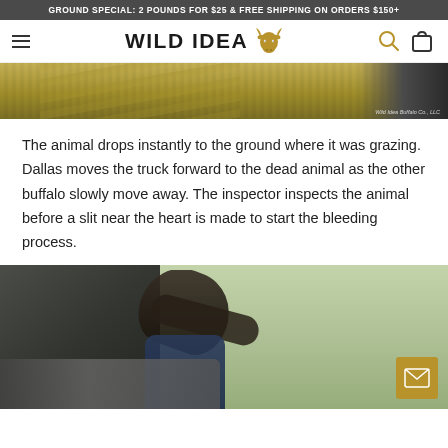GROUND SPECIAL: 2 POUNDS FOR $25 & FREE SHIPPING ON ORDERS $150+
WILD IDEA
[Figure (photo): Partial view of a grassy field, upper portion of an outdoor scene. Watermark reads: Wild Idea Buffalo Co., LLC]
The animal drops instantly to the ground where it was grazing. Dallas moves the truck forward to the dead animal as the other buffalo slowly move away. The inspector inspects the animal before a slit near the heart is made to start the bleeding process.
[Figure (photo): A person in dark clothing bending over equipment or machinery on a trailer in a grassy field. A mail/envelope icon button is visible in the bottom right corner.]